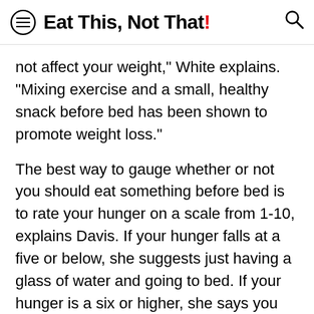Eat This, Not That!
not affect your weight," White explains. "Mixing exercise and a small, healthy snack before bed has been shown to promote weight loss."
The best way to gauge whether or not you should eat something before bed is to rate your hunger on a scale from 1-10, explains Davis. If your hunger falls at a five or below, she suggests just having a glass of water and going to bed. If your hunger is a six or higher, she says you should nosh on a satisfying snack, something between 100 and 200 calories.
Just make sure you're snacking on one of the best foods to eat before sleep to quiet a rumbly tummy